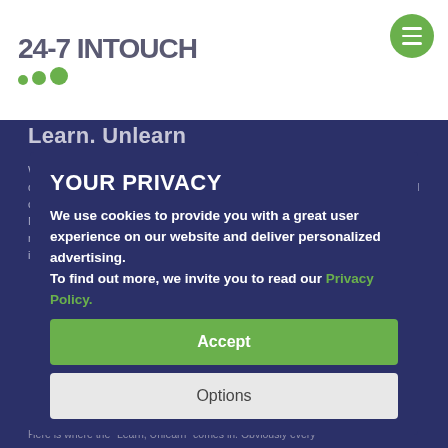[Figure (logo): 24-7 INTOUCH logo with three green dots and text in dark grey]
Learn. Unlearn
We often use the philosophy "Learn, Unlearn" to ensure we are delivering quality in every aspect of our business. Understanding feedback from our valued clients serves as an important factor in our continuous improvement process. Now that brand interaction is happening constantly in real-time during our marketing, the need to stay relevant and provide quality service is more important than ever.
With the strong onboarding process we have in place, what distinguishes our agents is our unique approach and built-in brand immersion to help transition our new business as well as
student agents. Every new agent comes up with the best training plan during our comprehensive learning process. We have fully immersed agents in all aspects of the client's culture and brand to ensure quality, efficient and successful onboarding.
YOUR PRIVACY
We use cookies to provide you with a great user experience on our website and deliver personalized advertising.
To find out more, we invite you to read our Privacy Policy.
Accept
Options
Here is where the "Learn, Unlearn" comes in. Obviously every